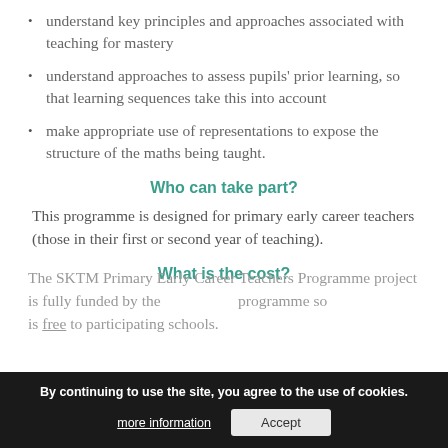understand key principles and approaches associated with teaching for mastery
understand approaches to assess pupils' prior learning, so that learning sequences take this into account
make appropriate use of representations to expose the structure of the maths being taught.
Who can take part?
This programme is designed for primary early career teachers (those in their first or second year of teaching).
What is the cost?
The SKTM Primary Early Career Teachers Programme project is fully funded by the programme so is free to participating schools.
By continuing to use the site, you agree to the use of cookies. more information  Accept